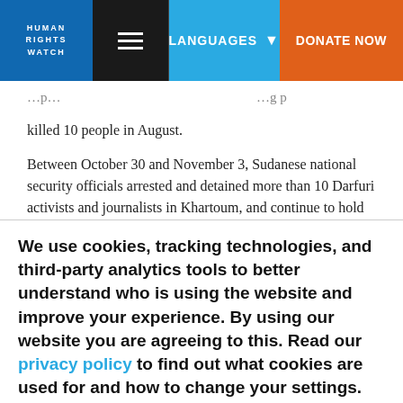HUMAN RIGHTS WATCH | LANGUAGES | DONATE NOW
killed 10 people in August.
Between October 30 and November 3, Sudanese national security officials arrested and detained more than 10 Darfuri activists and journalists in Khartoum, and continue to hold them in unknown locations without access to family or lawyers. They are...
We use cookies, tracking technologies, and third-party analytics tools to better understand who is using the website and improve your experience. By using our website you are agreeing to this. Read our privacy policy to find out what cookies are used for and how to change your settings.